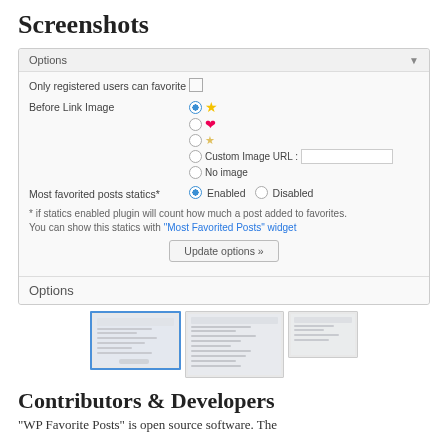Screenshots
[Figure (screenshot): WordPress plugin options panel showing settings: Only registered users can favorite (checkbox), Before Link Image (radio buttons with star, heart, small star icons, Custom Image URL input, No Image), Most favorited posts statics (Enabled/Disabled radio), note text with link to Most Favorited Posts widget, Update options button, and Options footer label.]
[Figure (screenshot): Three thumbnail screenshots of the plugin options page. The first (selected, blue border) shows the full options panel. The second shows a longer view. The third shows a minimal view.]
Contributors & Developers
"WP Favorite Posts" is open source software. The